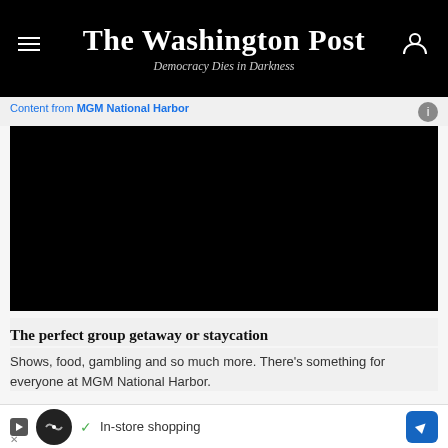The Washington Post — Democracy Dies in Darkness
Content from MGM National Harbor
[Figure (other): Black video player box for MGM National Harbor advertisement]
The perfect group getaway or staycation
Shows, food, gambling and so much more. There's something for everyone at MGM National Harbor.
In response, Sri Lanka's Defense Ministry said the government had "taken steps to temporarily block all
In-store shopping